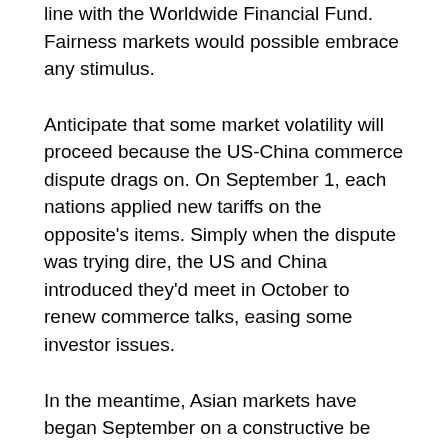line with the Worldwide Financial Fund. Fairness markets would possible embrace any stimulus.
Anticipate that some market volatility will proceed because the US-China commerce dispute drags on. On September 1, each nations applied new tariffs on the opposite's items. Simply when the dispute was trying dire, the US and China introduced they'd meet in October to renew commerce talks, easing some investor issues.
In the meantime, Asian markets have began September on a constructive be aware. China's Shanghai Composite and the Hong Kong Cling Seng fairness indices noticed some good points from their latest lows. The Cling Seng jumped virtually four% after Carrie Lam Chief Government of Hong Kong unexpectedly introduced a proper withdrawal of the extradition invoice that sparked three months of protests. China's companies sector additionally sped up for the